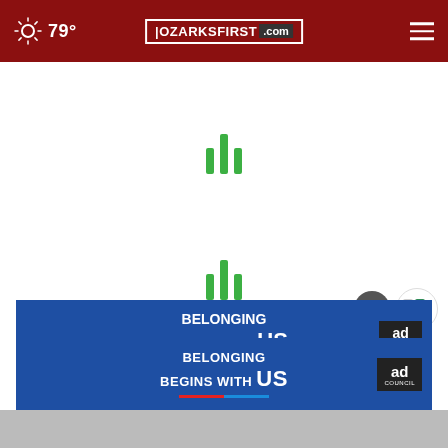79° | OZARKSFIRST.com | Navigation menu
[Figure (other): Loading spinner - three green vertical bars, taller in center]
[Figure (other): Loading spinner - three green vertical bars, taller in center]
AROUND THE WEB
[Figure (other): Ad banner - blue background with 'BELONGING BEGINS WITH US' text and Ad Council logo]
[Figure (screenshot): Thumbnail image strip at bottom of page]